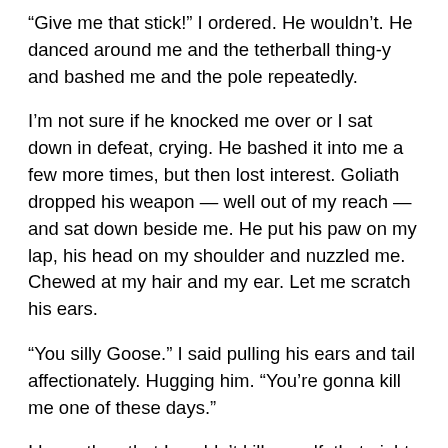“Give me that stick!” I ordered. He wouldn’t. He danced around me and the tetherball thing-y and bashed me and the pole repeatedly.
I’m not sure if he knocked me over or I sat down in defeat, crying. He bashed it into me a few more times, but then lost interest. Goliath dropped his weapon — well out of my reach — and sat down beside me. He put his paw on my lap, his head on my shoulder and nuzzled me. Chewed at my hair and my ear. Let me scratch his ears.
“You silly Goose.” I said pulling his ears and tail affectionately. Hugging him. “You’re gonna kill me one of these days.”
I knew then that I couldn’t kill myself, that night or any other. Nobody in their right mind would take my stupid